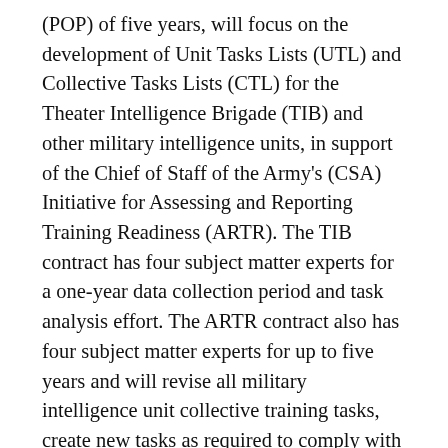(POP) of five years, will focus on the development of Unit Tasks Lists (UTL) and Collective Tasks Lists (CTL) for the Theater Intelligence Brigade (TIB) and other military intelligence units, in support of the Chief of Staff of the Army's (CSA) Initiative for Assessing and Reporting Training Readiness (ARTR). The TIB contract has four subject matter experts for a one-year data collection period and task analysis effort. The ARTR contract also has four subject matter experts for up to five years and will revise all military intelligence unit collective training tasks, create new tasks as required to comply with collective task standards and business rules established by the Chief of Staff of the Army.
This effort is being implemented with AITC's strategic partner, Intelligence, Communications and Engineering (ICE), Inc., located in Sierra Vista, AZ. The work will be primarily based at Fort Huachuca,